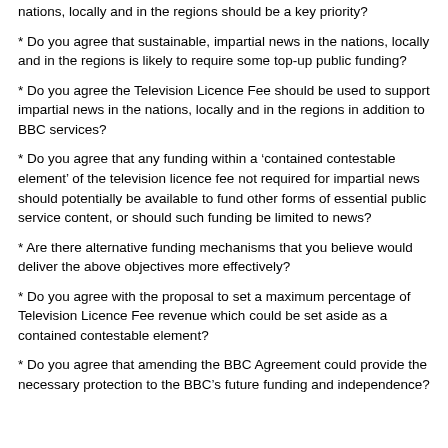* nations, locally and in the regions should be a key priority?
* Do you agree that sustainable, impartial news in the nations, locally and in the regions is likely to require some top-up public funding?
* Do you agree the Television Licence Fee should be used to support impartial news in the nations, locally and in the regions in addition to BBC services?
* Do you agree that any funding within a ‘contained contestable element’ of the television licence fee not required for impartial news should potentially be available to fund other forms of essential public service content, or should such funding be limited to news?
* Are there alternative funding mechanisms that you believe would deliver the above objectives more effectively?
* Do you agree with the proposal to set a maximum percentage of Television Licence Fee revenue which could be set aside as a contained contestable element?
* Do you agree that amending the BBC Agreement could provide the necessary protection to the BBC’s future funding and independence?